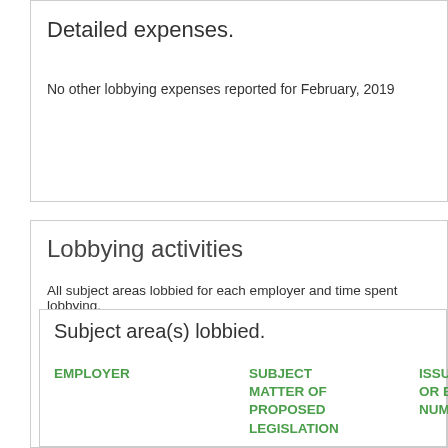Detailed expenses.
No other lobbying expenses reported for February, 2019
Lobbying activities
All subject areas lobbied for each employer and time spent lobbying.
| EMPLOYER | SUBJECT MATTER OF PROPOSED LEGISLATION | ISSUE OR BILL NUMBER |
| --- | --- | --- |
| ALLSTATE INSURANCE CO | Business and consumer affairs | Insurance, Taxation, Tort Issues Insurance, |